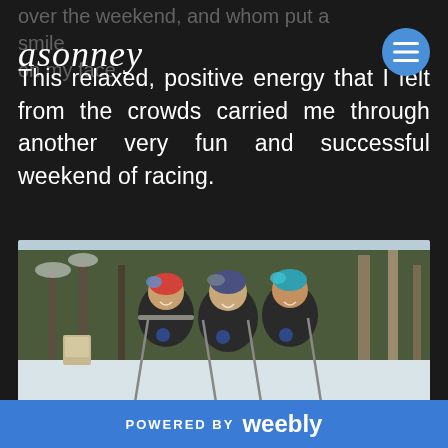over the weekend, and whom put a smile on my face.
asonney
This relaxed, positive energy that I felt from the crowds carried me through another very fun and successful weekend of racing.
[Figure (photo): Three women in ski team uniforms (black jackets with matching vests and logos) smiling and posing together outdoors in a snowy wooded setting. They are wearing ski goggles and holding ski poles.]
POWERED BY weebly